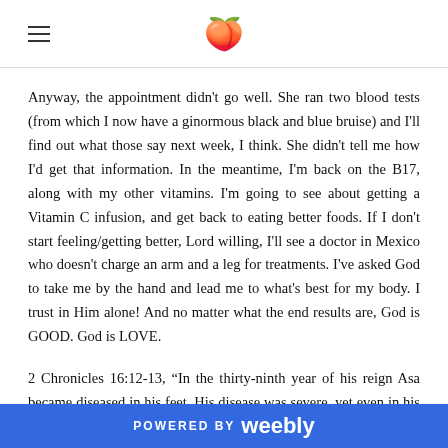[hamburger menu icon] [peach/fruit emoji]
Anyway, the appointment didn't go well. She ran two blood tests (from which I now have a ginormous black and blue bruise) and I'll find out what those say next week, I think. She didn't tell me how I'd get that information. In the meantime, I'm back on the B17, along with my other vitamins. I'm going to see about getting a Vitamin C infusion, and get back to eating better foods. If I don't start feeling/getting better, Lord willing, I'll see a doctor in Mexico who doesn't charge an arm and a leg for treatments. I've asked God to take me by the hand and lead me to what's best for my body. I trust in Him alone! And no matter what the end results are, God is GOOD. God is LOVE.
2 Chronicles 16:12-13, "In the thirty-ninth year of his reign Asa became diseased in his feet. His disease was severe, yet even in his disease he did not seek the LORD, but the physicians. So Asa slept with
POWERED BY weebly